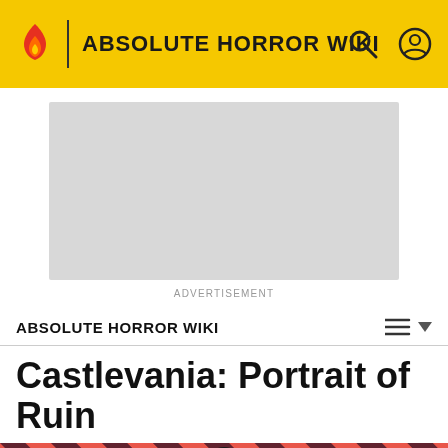ABSOLUTE HORROR WIKI
[Figure (other): Advertisement placeholder box (gray rectangle)]
ADVERTISEMENT
ABSOLUTE HORROR WIKI
Castlevania: Portrait of Ruin
[Figure (illustration): Hero image with diagonal red and dark stripes background and a dark-haired male figure in dark clothing, centered]